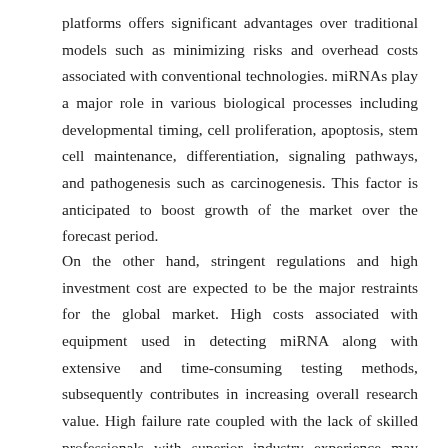platforms offers significant advantages over traditional models such as minimizing risks and overhead costs associated with conventional technologies. miRNAs play a major role in various biological processes including developmental timing, cell proliferation, apoptosis, stem cell maintenance, differentiation, signaling pathways, and pathogenesis such as carcinogenesis. This factor is anticipated to boost growth of the market over the forecast period.
On the other hand, stringent regulations and high investment cost are expected to be the major restraints for the global market. High costs associated with equipment used in detecting miRNA along with extensive and time-consuming testing methods, subsequently contributes in increasing overall research value. High failure rate coupled with the lack of skilled professionals with superior industry experience may hamper market growth.